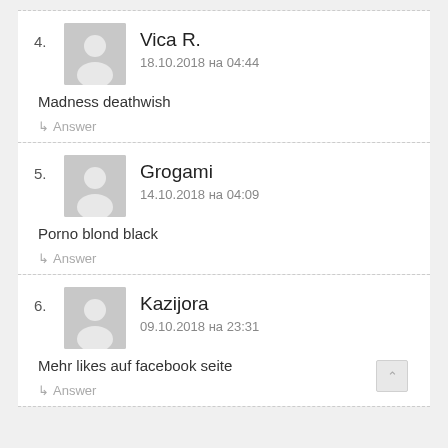4. Vica R. 18.10.2018 на 04:44
Madness deathwish
↳ Answer
5. Grogami 14.10.2018 на 04:09
Porno blond black
↳ Answer
6. Kazijora 09.10.2018 на 23:31
Mehr likes auf facebook seite
↳ Answer